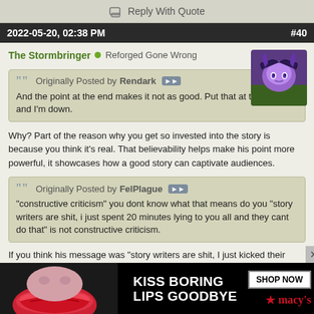Reply With Quote
2022-05-20, 02:38 PM  #40
The Stormbringer  Reforged Gone Wrong
Originally Posted by Rendark
And the point at the end makes it not as good. Put that at the start and I'm down.
Why? Part of the reason why you get so invested into the story is because you think it's real. That believability helps make his point more powerful, it showcases how a good story can captivate audiences.
Originally Posted by FelPlague
"constructive criticism" you dont know what that means do you "story writers are shit, i just spent 20 minutes lying to you all and they cant do that" is not constructive criticism.
If you think his message was "story writers are shit, I just kicked their asses lo... d. To me it wa... come up with inte... they're